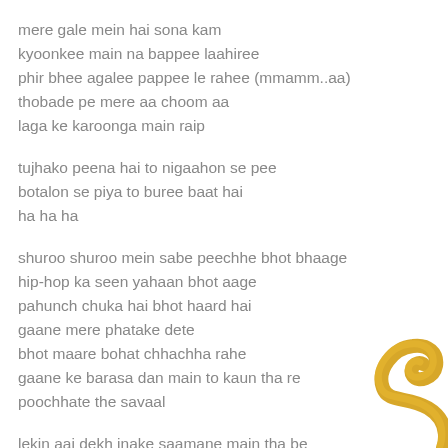mere gale mein hai sona kam
kyoonkee main na bappee laahiree
phir bhee agalee pappee le rahee (mmamm..aa)
thobade pe mere aa choom aa
laga ke karoonga main raip
tujhako peena hai to nigaahon se pee
botalon se piya to buree baat hai
ha ha ha
shuroo shuroo mein sabe peechhe bhot bhaage
hip-hop ka seen yahaan bhot aage
pahunch chuka hai bhot haard hai
gaane mere phatake dete
bhot maare bohat chhachha rahe
gaane ke barasa dan main to kaun tha re
poochhate the savaal
lekin aaj dekh inake saamane main tha be
undair-aistimatai na karo kisee ko bhee
[Figure (illustration): Gold decorative swirl/ribbon shape in the bottom-right corner]